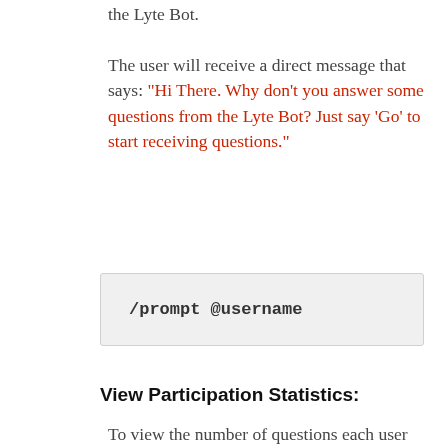the Lyte Bot.

The user will receive a direct message that says: "Hi There. Why don't you answer some questions from the Lyte Bot? Just say 'Go' to start receiving questions."
/prompt @username
View Participation Statistics:
To view the number of questions each user has answered, send the following in a Direct Message to the Lyte Bot. You can also run this command from the Lyte Channel.